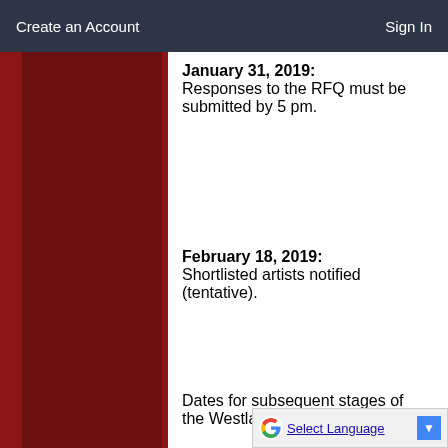Create an Account | Sign In
January 31, 2019: Responses to the RFQ must be submitted by 5 pm.
February 18, 2019: Shortlisted artists notified (tentative).
Dates for subsequent stages of the Westlake